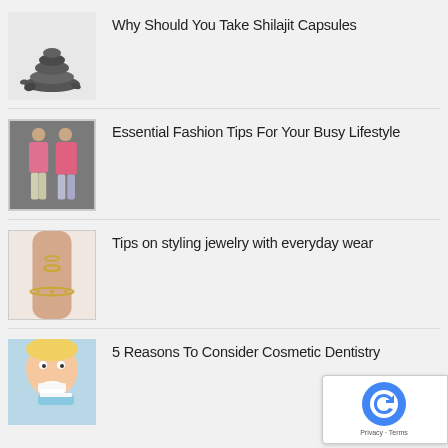Why Should You Take Shilajit Capsules
Essential Fashion Tips For Your Busy Lifestyle
Tips on styling jewelry with everyday wear
5 Reasons To Consider Cosmetic Dentistry
[Figure (logo): reCAPTCHA badge with Google logo and Privacy/Terms links]